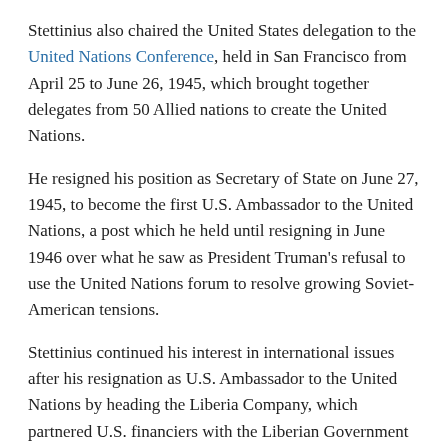Stettinius also chaired the United States delegation to the United Nations Conference, held in San Francisco from April 25 to June 26, 1945, which brought together delegates from 50 Allied nations to create the United Nations.
He resigned his position as Secretary of State on June 27, 1945, to become the first U.S. Ambassador to the United Nations, a post which he held until resigning in June 1946 over what he saw as President Truman's refusal to use the United Nations forum to resolve growing Soviet-American tensions.
Stettinius continued his interest in international issues after his resignation as U.S. Ambassador to the United Nations by heading the Liberia Company, which partnered U.S. financiers with the Liberian Government to provide funds for Liberia's development.
FROM PRINCIPAL OFFICERS AND CHIEFS OF MISSION
Born 1900
Died 1949